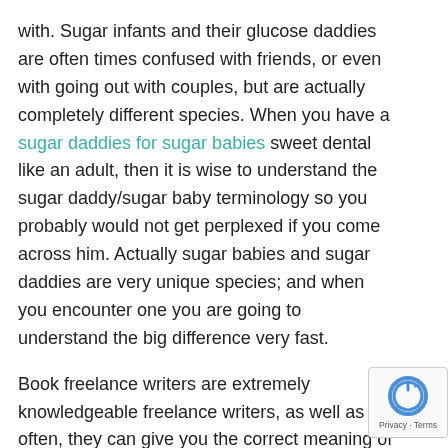with. Sugar infants and their glucose daddies are often times confused with friends, or even with going out with couples, but are actually completely different species. When you have a sugar daddies for sugar babies sweet dental like an adult, then it is wise to understand the sugar daddy/sugar baby terminology so you probably would not get perplexed if you come across him. Actually sugar babies and sugar daddies are very unique species; and when you encounter one you are going to understand the big difference very fast.
Book freelance writers are extremely knowledgeable freelance writers, as well as often, they can give you the correct meaning of any sugar daddy in respect to their https://challengeforeurope.blogactiv.eu/2019/08/sensible-advice-for-sugar-daddy-and-baby-lifestyle-some-thoughts/ own familiarity with the uk dialect.